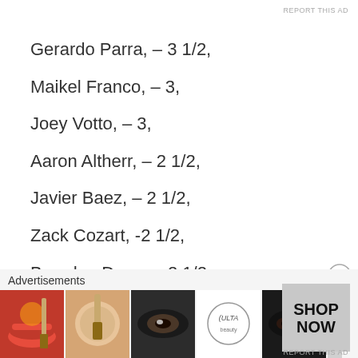REPORT THIS AD
Gerardo Parra, – 3 1/2,
Maikel Franco, – 3,
Joey Votto, – 3,
Aaron Altherr, – 2 1/2,
Javier Baez, – 2 1/2,
Zack Cozart, -2 1/2,
Brandon Drury, – 2 1/2,
Wilmer Flores, – 2 1/2,
Advertisements
[Figure (photo): Advertisement banner showing cosmetics/beauty products with ULTA logo and SHOP NOW text]